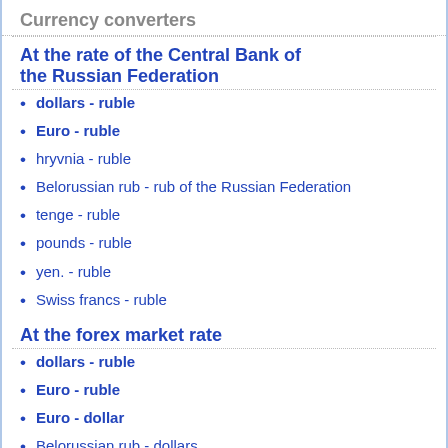Currency converters
At the rate of the Central Bank of the Russian Federation
dollars - ruble
Euro - ruble
hryvnia - ruble
Belorussian rub - rub of the Russian Federation
tenge - ruble
pounds - ruble
yen. - ruble
Swiss francs - ruble
At the forex market rate
dollars - ruble
Euro - ruble
Euro - dollar
Belorussian rub - dollars
dollars - tenge
Bitcoins
Bitcoins - Euro
Bitcoins - ruble